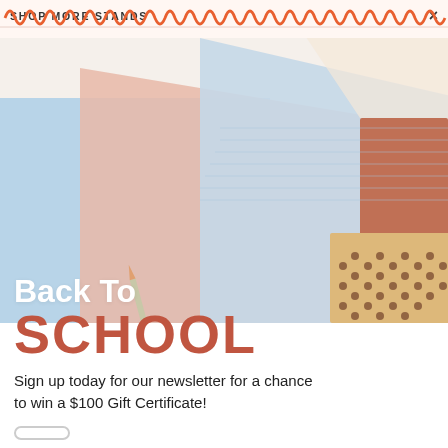SHOP MORE STANDS
[Figure (photo): Back to school stationery notebooks in pastel blue, pink, peach, terracotta and tan with polka dots arranged in a flat lay composition on a white background]
Back To
SCHOOL
Sign up today for our newsletter for a chance to win a $100 Gift Certificate!